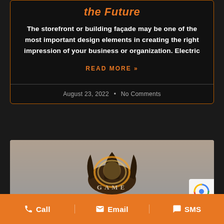the Future
The storefront or building façade may be one of the most important design elements in creating the right impression of your business or organization. Electric
READ MORE »
August 23, 2022  •  No Comments
[Figure (photo): Illuminated GAME logo sign with flame/hand shape backlit in yellow-orange on a dark wooden background, shown against a grey wall]
📞 Call   ✉ Email   💬 SMS